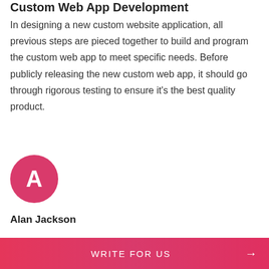Custom Web App Development
In designing a new custom website application, all previous steps are pieced together to build and program the custom web app to meet specific needs. Before publicly releasing the new custom web app, it should go through rigorous testing to ensure it's the best quality product.
[Figure (illustration): Pink circular avatar with white letter A representing author Alan Jackson]
Alan Jackson
WRITE FOR US →